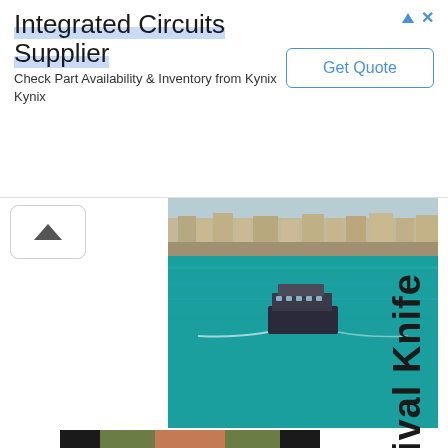[Figure (screenshot): Advertisement banner for Integrated Circuits Supplier - Kynix. Shows title 'Integrated Circuits Supplier', description 'Check Part Availability & Inventory from Kynix Kynix', and a 'Get Quote' button. Ad icons (triangle and X) in top right.]
[Figure (photo): Aerial/elevated photo of a harbor or bay with teal blue water. A boat or ferry is visible in the middle of the water. Buildings and port infrastructure visible in the background. A caret/up-arrow button is visible on the left side.]
[Figure (photo): Photo of a woman in an olive green and black outfit (jacket/bodysuit with black panels). She appears to be holding a knife at her waist. Partially cropped.]
ate Survival Knife